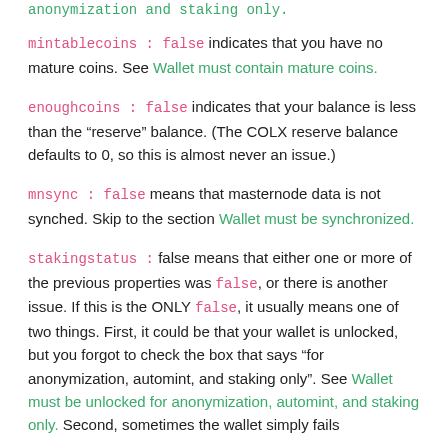anonymization and staking only.
mintablecoins : false indicates that you have no mature coins. See Wallet must contain mature coins.
enoughcoins : false indicates that your balance is less than the “reserve” balance. (The COLX reserve balance defaults to 0, so this is almost never an issue.)
mnsync : false means that masternode data is not synched. Skip to the section Wallet must be synchronized.
stakingstatus : false means that either one or more of the previous properties was false, or there is another issue. If this is the ONLY false, it usually means one of two things. First, it could be that your wallet is unlocked, but you forgot to check the box that says “for anonymization, automint, and staking only”. See Wallet must be unlocked for anonymization, automint, and staking only. Second, sometimes the wallet simply fails